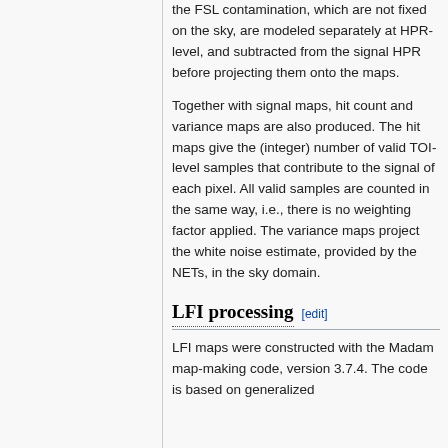the FSL contamination, which are not fixed on the sky, are modeled separately at HPR-level, and subtracted from the signal HPR before projecting them onto the maps.
Together with signal maps, hit count and variance maps are also produced. The hit maps give the (integer) number of valid TOI-level samples that contribute to the signal of each pixel. All valid samples are counted in the same way, i.e., there is no weighting factor applied. The variance maps project the white noise estimate, provided by the NETs, in the sky domain.
LFI processing [edit]
LFI maps were constructed with the Madam map-making code, version 3.7.4. The code is based on generalized